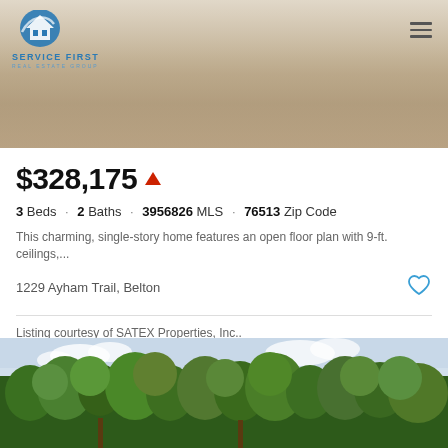[Figure (photo): Exterior photo of a property showing graded dirt/sand ground with a light-colored building in the background]
[Figure (logo): Service First Real Estate Group logo with blue swoosh icon]
$328,175
3 Beds · 2 Baths · 3956826 MLS · 76513 Zip Code
This charming, single-story home features an open floor plan with 9-ft. ceilings,...
1229 Ayham Trail, Belton
Listing courtesy of SATEX Properties, Inc..
[Figure (photo): Aerial or street-level photo showing dense green trees and cloudy sky]